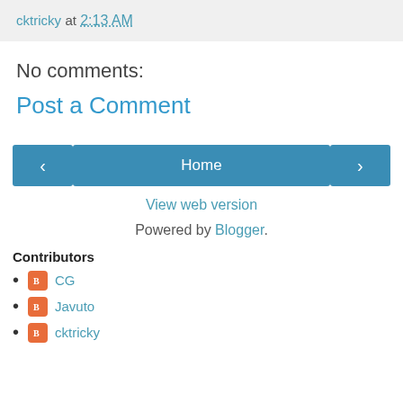cktricky at 2:13 AM
No comments:
Post a Comment
Home
View web version
Powered by Blogger.
Contributors
CG
Javuto
cktricky